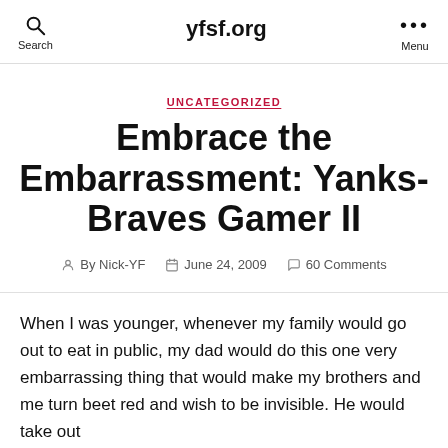yfsf.org
UNCATEGORIZED
Embrace the Embarrassment: Yanks-Braves Gamer II
By Nick-YF   June 24, 2009   60 Comments
When I was younger, whenever my family would go out to eat in public, my dad would do this one very embarrassing thing that would make my brothers and me turn beet red and wish to be invisible. He would take out